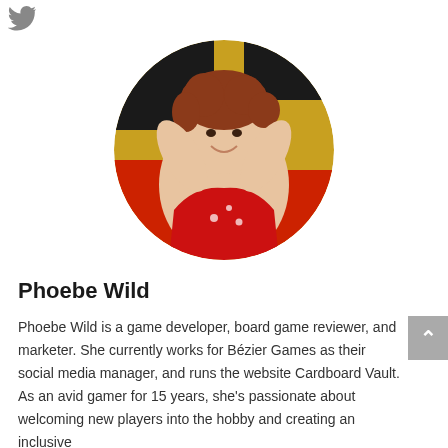[Figure (photo): Twitter bird icon in top-left corner]
[Figure (photo): Circular profile photo of Phoebe Wild, a woman with reddish-brown hair with hands raised behind her head, wearing a red floral spaghetti-strap top, against a colorful graffiti background of yellow, black and red]
Phoebe Wild
Phoebe Wild is a game developer, board game reviewer, and marketer. She currently works for Bézier Games as their social media manager, and runs the website Cardboard Vault. As an avid gamer for 15 years, she's passionate about welcoming new players into the hobby and creating an inclusive